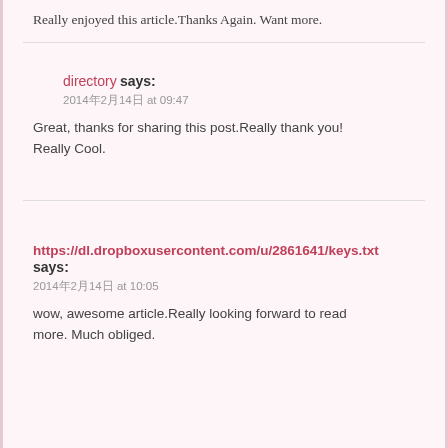Really enjoyed this article.Thanks Again. Want more.
directory says:
2014年2月14日 at 09:47
Great, thanks for sharing this post.Really thank you! Really Cool.
https://dl.dropboxusercontent.com/u/2861641/keys.txt says:
2014年2月14日 at 10:05
wow, awesome article.Really looking forward to read more. Much obliged.